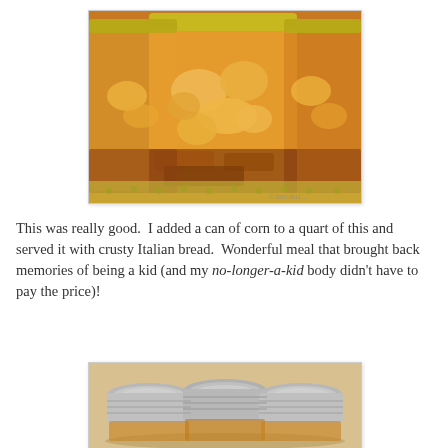[Figure (photo): Glass mason jars filled with canned peaches or similar orange/yellow fruit chunks, with golden-brown liquid and crispy textured pieces at bottom, placed on a patterned surface]
This was really good.  I added a can of corn to a quart of this and served it with crusty Italian bread.  Wonderful meal that brought back memories of being a kid (and my no-longer-a-kid body didn't have to pay the price)!
[Figure (photo): Multiple sealed mason jar lids with metal screw bands viewed from above at an angle, arranged on a light beige surface]